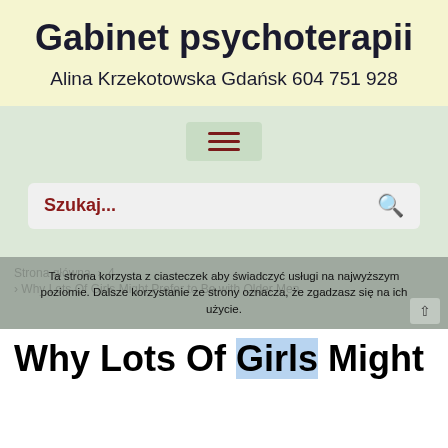Gabinet psychoterapii
Alina Krzekotowska Gdańsk 604 751 928
[Figure (screenshot): Hamburger menu icon (three horizontal lines) in a rounded box on green background]
[Figure (screenshot): Search bar with placeholder text 'Szukaj...' and search icon on right]
Strona główna > 4
> Why Lots Of Girls Might Prefer to Be with Older Men
Ta strona korzysta z ciasteczek aby świadczyć usługi na najwyższym poziomie. Dalsze korzystanie ze strony oznacza, że zgadzasz się na ich użycie.
Why Lots Of Girls Might